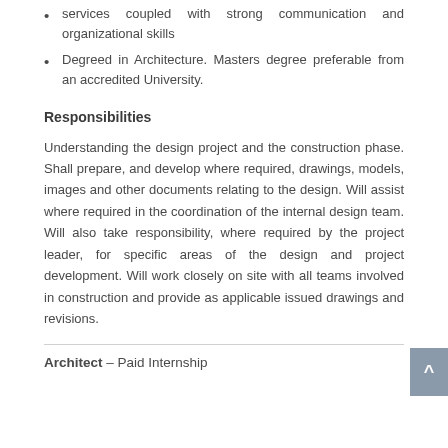services coupled with strong communication and organizational skills
Degreed in Architecture. Masters degree preferable from an accredited University.
Responsibilities
Understanding the design project and the construction phase. Shall prepare, and develop where required, drawings, models, images and other documents relating to the design. Will assist where required in the coordination of the internal design team. Will also take responsibility, where required by the project leader, for specific areas of the design and project development. Will work closely on site with all teams involved in construction and provide as applicable issued drawings and revisions.
Architect – Paid Internship